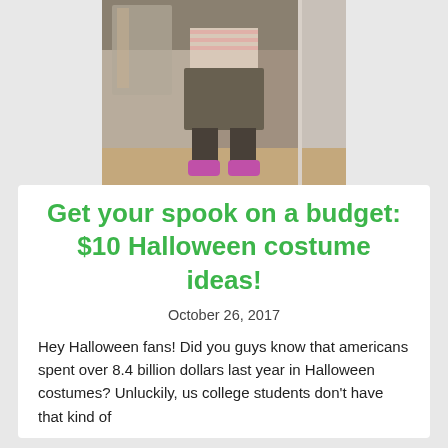[Figure (photo): Person standing in a doorway or closet area wearing a striped top, dark skirt, dark leggings, and bright purple/pink shoes. Photo taken indoors showing lower body primarily.]
Get your spook on a budget: $10 Halloween costume ideas!
October 26, 2017
Hey Halloween fans! Did you guys know that americans spent over 8.4 billion dollars last year in Halloween costumes? Unluckily, us college students don't have that kind of